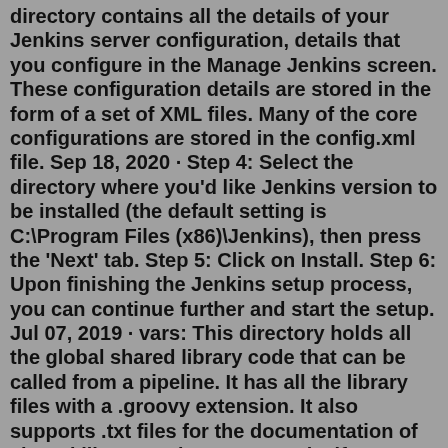directory contains all the details of your Jenkins server configuration, details that you configure in the Manage Jenkins screen. These configuration details are stored in the form of a set of XML files. Many of the core configurations are stored in the config.xml file. Sep 18, 2020 · Step 4: Select the directory where you'd like Jenkins version to be installed (the default setting is C:\Program Files (x86)\Jenkins), then press the 'Next' tab. Step 5: Click on Install. Step 6: Upon finishing the Jenkins setup process, you can continue further and start the setup. Jul 07, 2019 · vars: This directory holds all the global shared library code that can be called from a pipeline. It has all the library files with a .groovy extension. It also supports .txt files for the documentation of shared library code. For example, if you have a file named maven-build.groovy, you can have a help file named maven-groovy.txt. In this file ... Nov 08, 2018 · create: create a file in an existing directory; delete: delete a file or directory; stat: read metadata of a file/directory, such as timestamp, length, file access modes, file path;